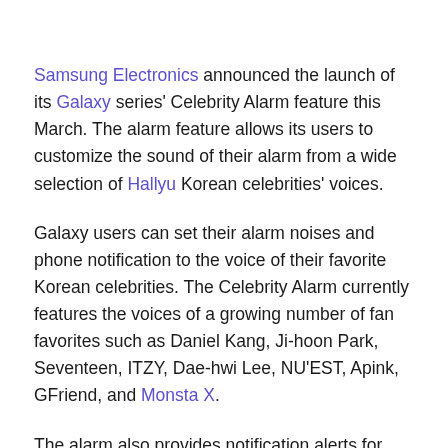Samsung Electronics announced the launch of its Galaxy series' Celebrity Alarm feature this March. The alarm feature allows its users to customize the sound of their alarm from a wide selection of Hallyu Korean celebrities' voices.
Galaxy users can set their alarm noises and phone notification to the voice of their favorite Korean celebrities. The Celebrity Alarm currently features the voices of a growing number of fan favorites such as Daniel Kang, Ji-hoon Park, Seventeen, ITZY, Dae-hwi Lee, NU'EST, Apink, GFriend, and Monsta X.
The alarm also provides notification alerts for everyday situations in which the users can use the day of the week and present time alerts in one of the celebrities' voice. Enabling Bixby allows users to receive daily weather information